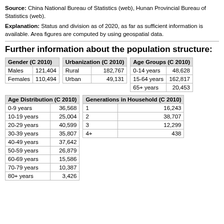Source: China National Bureau of Statistics (web), Hunan Provincial Bureau of Statistics (web).
Explanation: Status and division as of 2020, as far as sufficient information is available. Area figures are computed by using geospatial data.
Further information about the population structure:
| Gender (C 2010) |  |
| --- | --- |
| Males | 121,404 |
| Females | 110,494 |
| Urbanization (C 2010) |  |
| --- | --- |
| Rural | 182,767 |
| Urban | 49,131 |
| Age Groups (C 2010) |  |
| --- | --- |
| 0-14 years | 48,628 |
| 15-64 years | 162,817 |
| 65+ years | 20,453 |
| Age Distribution (C 2010) |  |
| --- | --- |
| 0-9 years | 36,568 |
| 10-19 years | 25,004 |
| 20-29 years | 40,599 |
| 30-39 years | 35,807 |
| 40-49 years | 37,642 |
| 50-59 years | 26,879 |
| 60-69 years | 15,586 |
| 70-79 years | 10,387 |
| 80+ years | 3,426 |
| Generations in Household (C 2010) |  |
| --- | --- |
| 1 | 16,243 |
| 2 | 38,707 |
| 3 | 12,299 |
| 4+ | 438 |